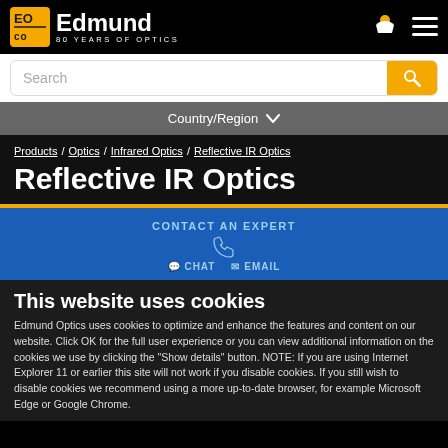Edmund Optics – 80 Years of Optics
Search
Country/Region
Products / Optics / Infrared Optics / Reflective IR Optics
Reflective IR Optics
CONTACT AN EXPERT
CHAT  EMAIL
This website uses cookies
Edmund Optics uses cookies to optimize and enhance the features and content on our website. Click OK for the full user experience or you can view additional information on the cookies we use by clicking the "Show details" button. NOTE: If you are using Internet Explorer 11 or earlier this site will not work if you disable cookies. If you still wish to disable cookies we recommend using a more up-to-date browser, for example Microsoft Edge or Google Chrome.